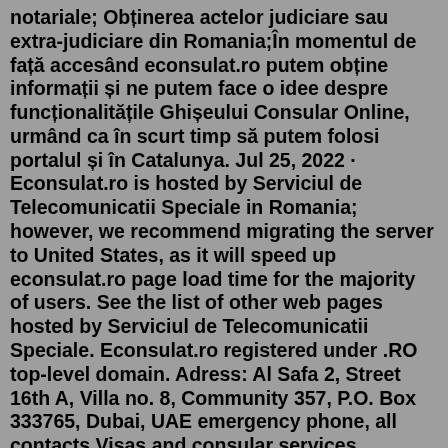notariale; Obținerea actelor judiciare sau extra-judiciare din Romania;În momentul de față accesând econsulat.ro putem obține informații și ne putem face o idee despre funcționalitățile Ghișeului Consular Online, urmând ca în scurt timp să putem folosi portalul și în Catalunya. Jul 25, 2022 · Econsulat.ro is hosted by Serviciul de Telecomunicatii Speciale in Romania; however, we recommend migrating the server to United States, as it will speed up econsulat.ro page load time for the majority of users. See the list of other web pages hosted by Serviciul de Telecomunicatii Speciale. Econsulat.ro registered under .RO top-level domain. Adress: Al Safa 2, Street 16th A, Villa no. 8, Community 357, P.O. Box 333765, Dubai, UAE emergency phone, all contacts Visas and consular services Program. Territorial Competence Entry and stay in Romania Romanian Visa Consular fees MFA Data Protection more Economic Promotion Economic News Attracting foreign investment Promoting Romanian exportsMinisterul Afacerilor Externe prezintă raportul în cifre al acțiunii